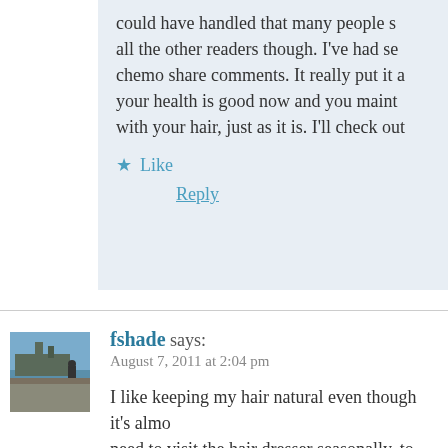could have handled that many people s... all the other readers though. I've had se... chemo share comments. It really put it a... your health is good now and you maint... with your hair, just as it is. I'll check out
★ Like
Reply
fshade says:
August 7, 2011 at 2:04 pm
I like keeping my hair natural even though it's almo... need to visit the hair dresser seasonally, to either b... corn-roll, because, I can not manage the tough text... dread every visit to the saloon, I wish I can simply ... with my day.